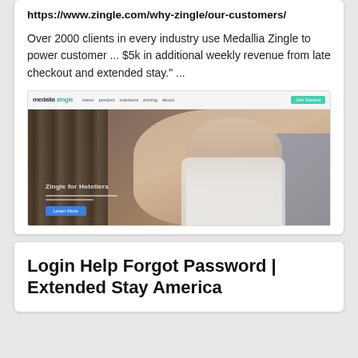https://www.zingle.com/why-zingle/our-customers/
Over 2000 clients in every industry use Medallia Zingle to power customer ... $5k in additional weekly revenue from late checkout and extended stay." ...
[Figure (screenshot): Screenshot of Medallia Zingle website showing a navbar with logo and green button, and a hero image of a person holding a baby]
Login Help Forgot Password | Extended Stay America